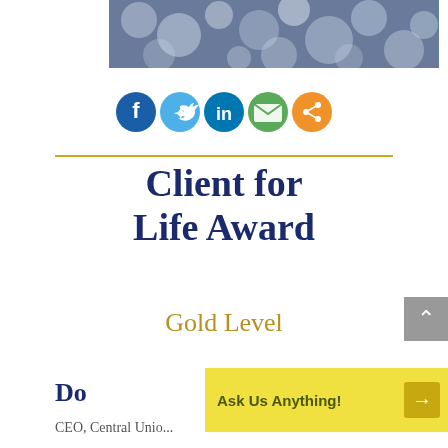[Figure (photo): Blurred bokeh lights background photo at top of page]
[Figure (illustration): Row of social media icon circles: Facebook (dark blue), Twitter (light blue), LinkedIn (teal), Email (green), Share (orange)]
Client for Life Award
Gold Level
Do
CEO, Central Unio...
Ask Us Anything!